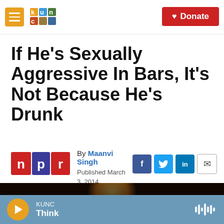KUNC — Donate
If He's Sexually Aggressive In Bars, It's Not Because He's Drunk
By Maanvi Singh
Published March 3, 2014 at 3:47 PM MST
[Figure (photo): Dark atmospheric bar scene with warm glowing light in background]
KUNC Think